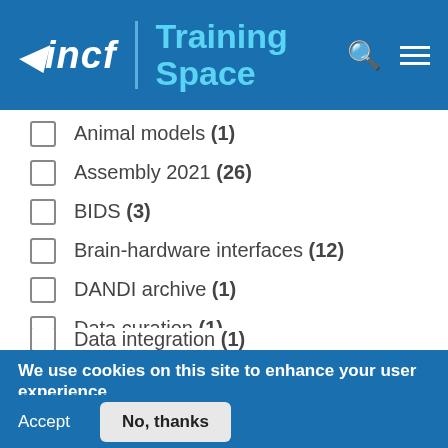incf | Training Space
Animal models (1)
Assembly 2021 (26)
BIDS (3)
Brain-hardware interfaces (12)
DANDI archive (1)
Data curation (1)
Data governance (2)
Data integration (1)
We use cookies on this site to enhance your user experience
By clicking any link or button on the website the visitor accepts the cookie policy. More info
Accept
No, thanks